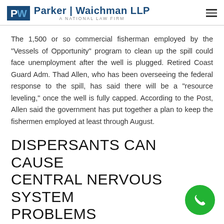Parker | Waichman LLP — A NATIONAL LAW FIRM
The 1,500 or so commercial fisherman employed by the "Vessels of Opportunity" program to clean up the spill could face unemployment after the well is plugged. Retired Coast Guard Adm. Thad Allen, who has been overseeing the federal response to the spill, has said there will be a "resource leveling," once the well is fully capped. According to the Post, Allen said the government has put together a plan to keep the fishermen employed at least through August.
DISPERSANTS CAN CAUSE CENTRAL NERVOUS SYSTEM PROBLEMS
Meanwhile, over the weekend, a controversy raged over the